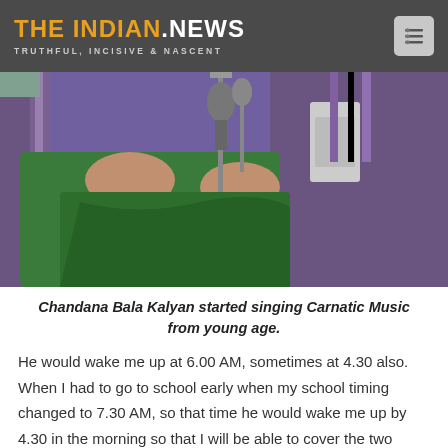THE INDIAN.NEWS — TRUTHFUL, INCISIVE & NASCENT
[Figure (photo): Close-up photo of a person in a green outfit sitting near a microphone stand, performing Carnatic music]
Chandana Bala Kalyan started singing Carnatic Music from young age.
He would wake me up at 6.00 AM, sometimes at 4.30 also. When I had to go to school early when my school timing changed to 7.30 AM, so that time he would wake me up by 4.30 in the morning so that I will be able to cover the two hours of practice before I left for school. This was right when I